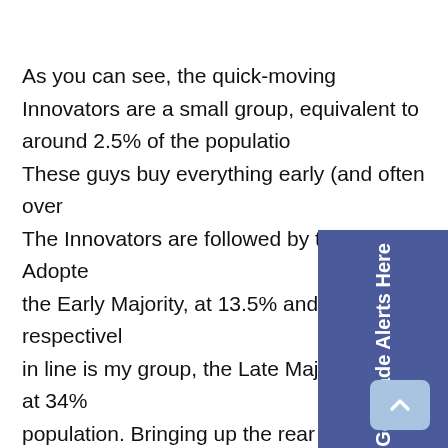As you can see, the quick-moving Innovators are a small group, equivalent to around 2.5% of the population. These guys buy everything early (and often overpay). The Innovators are followed by the Early Adopters and the Early Majority, at 13.5% and 34%, respectively. Next in line is my group, the Late Majority, also at 34% of the population. Bringing up the rear are the Laggards. Based on Rogers' theory and my wish for a Kindle this Christmas, sales of tablets are going to explode in 2014. That's because the Late Majority and the Early Majority make up the bulk of the buying population — 68%, to be exact